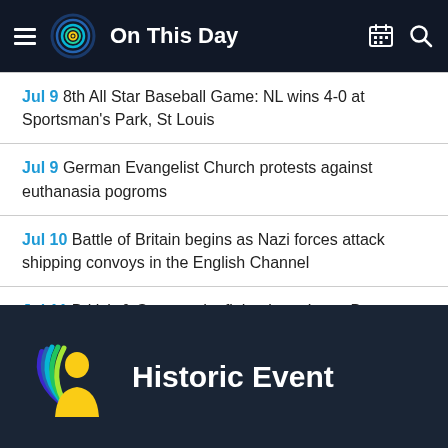On This Day
Jul 9 8th All Star Baseball Game: NL wins 4-0 at Sportsman's Park, St Louis
Jul 9 German Evangelist Church protests against euthanasia pogroms
Jul 10 Battle of Britain begins as Nazi forces attack shipping convoys in the English Channel
Jul 11 British & German dogfight above Lyme Bay
Historic Event